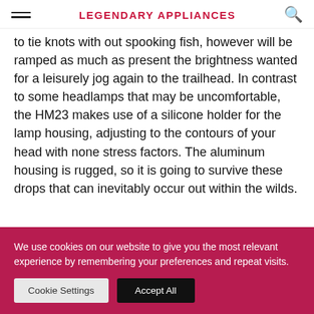LEGENDARY APPLIANCES
to tie knots with out spooking fish, however will be ramped as much as present the brightness wanted for a leisurely jog again to the trailhead. In contrast to some headlamps that may be uncomfortable, the HM23 makes use of a silicone holder for the lamp housing, adjusting to the contours of your head with none stress factors. The aluminum housing is rugged, so it is going to survive these drops that can inevitably occur out within the wilds.
We use cookies on our website to give you the most relevant experience by remembering your preferences and repeat visits.
Cookie Settings  Accept All